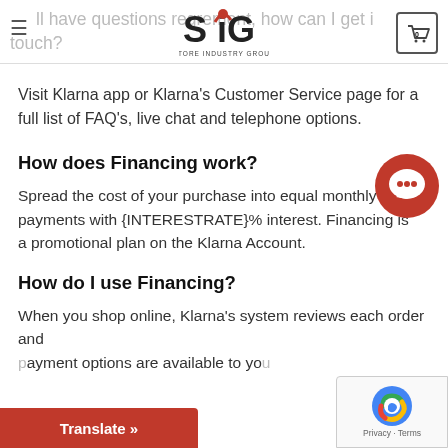SIG Store Industry Group — navigation header with logo, hamburger menu, and cart (0)
Visit Klarna app or Klarna's Customer Service page for a full list of FAQ's, live chat and telephone options.
How does Financing work?
Spread the cost of your purchase into equal monthly payments with {INTERESTRATE}% interest. Financing is a promotional plan on the Klarna Account.
How do I use Financing?
When you shop online, Klarna's system reviews each order and payment options are available to you...